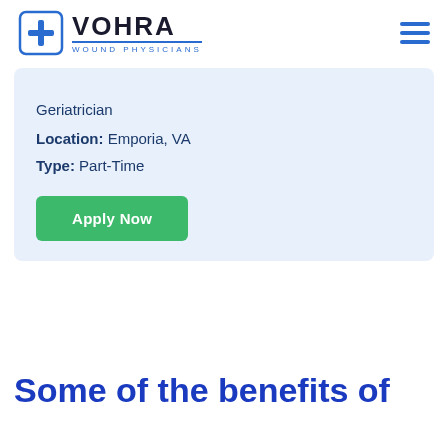VOHRA WOUND PHYSICIANS
Geriatrician
Location: Emporia, VA
Type: Part-Time
Apply Now
Some of the benefits of